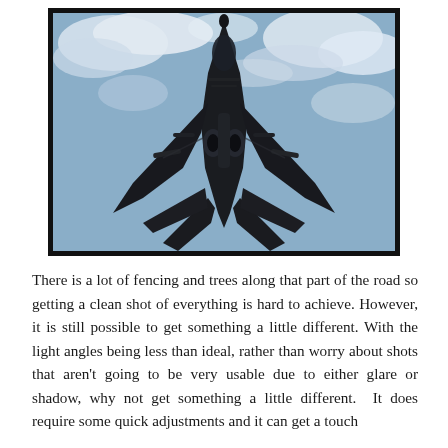[Figure (photo): A military fighter jet (F-15 Eagle) photographed from below against a cloudy blue sky, showing the underside with wings spread and weapons payload visible. The aircraft appears dark/black against the sky.]
There is a lot of fencing and trees along that part of the road so getting a clean shot of everything is hard to achieve. However, it is still possible to get something a little different. With the light angles being less than ideal, rather than worry about shots that aren't going to be very usable due to either glare or shadow, why not get something a little different.  It does require some quick adjustments and it can get a touch